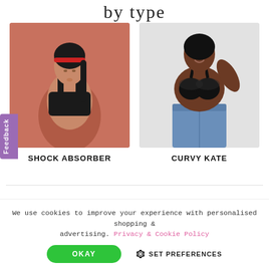by type
[Figure (photo): Woman wearing a black sports bra with red headband, against a salmon/pink background — Shock Absorber product image]
SHOCK ABSORBER
[Figure (photo): Woman wearing a black lingerie bra and blue jeans, against a light grey background — Curvy Kate product image]
CURVY KATE
Feedback
We use cookies to improve your experience with personalised shopping & advertising. Privacy & Cookie Policy
OKAY
SET PREFERENCES